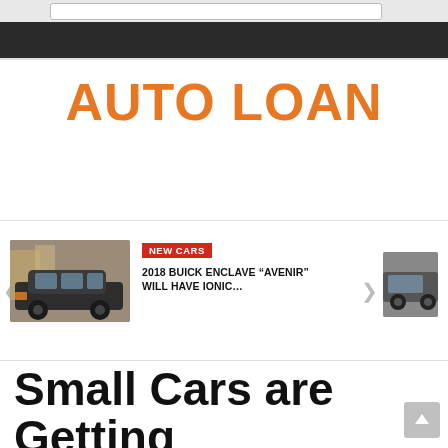AUTO LOAN DAILY
[Figure (photo): Screenshot of Auto Loan Daily website showing navigation bar and carousel with a 2018 Buick Enclave car image]
NEW CARS
2018 BUICK ENCLAVE “AVENIR” WILL HAVE IONIC…
Small Cars are Getting Safe